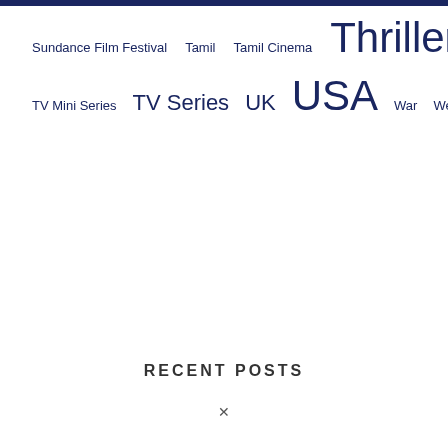Sundance Film Festival  Tamil  Tamil Cinema  Thriller  TIFF  Trailer  TV Mini Series  TV Series  UK  USA  War  Western
RECENT POSTS